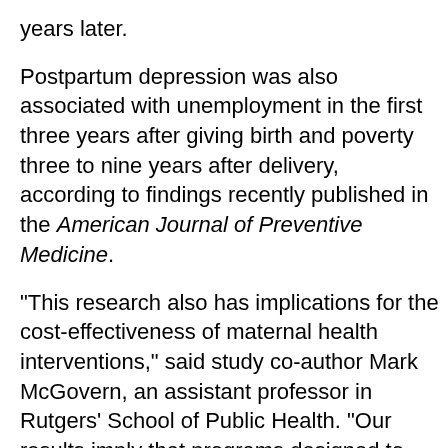years later.
Postpartum depression was also associated with unemployment in the first three years after giving birth and poverty three to nine years after delivery, according to findings recently published in the American Journal of Preventive Medicine.
"This research also has implications for the cost-effectiveness of maternal health interventions," said study co-author Mark McGovern, an assistant professor in Rutgers' School of Public Health. "Our results imply that programs designed to lower the prevalence of maternal depression should be viewed not only as interventions that promote population health but also as interventions that